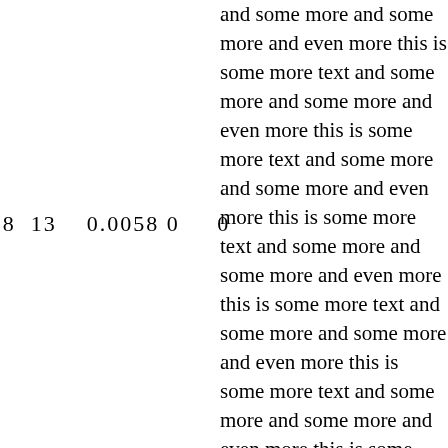58 13 0.0058 0 0
and some more and some more and even more this is some more text and some more and some more and even more this is some more text and some more and some more and even more this is some more text and some more and some more and even more this is some more text and some more and some more and even more this is some more text and some more and some more and even more this is some more text and some more and some more and even more this is some more text and some more and some more and even more this is some more text and some more and some more and even more this is some more text and some more and some more and even more this is some more text and some more and some more and even more this is some more text and some more and some more and even more this is some more text and some more and some more and even more this is some more text and some more and some more and even more this is some more text and some more and some more and even more this is some more text and some more and some more and even more this is some more text and some more and some more and even more this is some more text and some more and some more and even more this is some more text and some more and some more and even more this is some more text and some more and some more and even more this is som